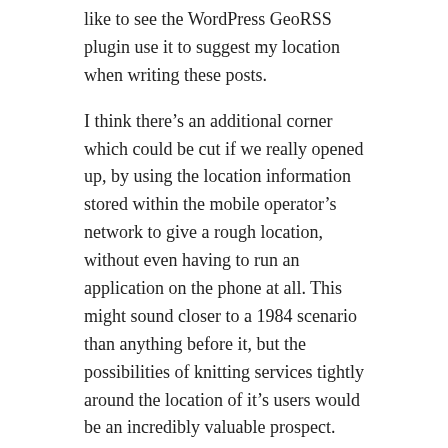like to see the WordPress GeoRSS plugin use it to suggest my location when writing these posts.
I think there’s an additional corner which could be cut if we really opened up, by using the location information stored within the mobile operator’s network to give a rough location, without even having to run an application on the phone at all. This might sound closer to a 1984 scenario than anything before it, but the possibilities of knitting services tightly around the location of it’s users would be an incredibly valuable prospect.
February 15, 2010  Duncan Sample  Google Maps Mobile, LBS, Privacy  Google, LBS  Leave a comment
Another fight for free data